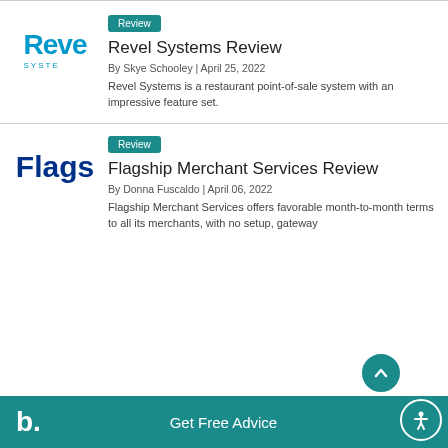[Figure (logo): Revel Systems logo with stylized 'Reve' text in blue and 'SYSTE' subtitle]
Review
Revel Systems Review
By Skye Schooley | April 25, 2022
Revel Systems is a restaurant point-of-sale system with an impressive feature set.
[Figure (logo): Flagship Merchant Services logo showing 'Flags' in bold dark blue]
Review
Flagship Merchant Services Review
By Donna Fuscaldo | April 06, 2022
Flagship Merchant Services offers favorable month-to-month terms to all its merchants, with no setup, gateway
b. Get Free Advice